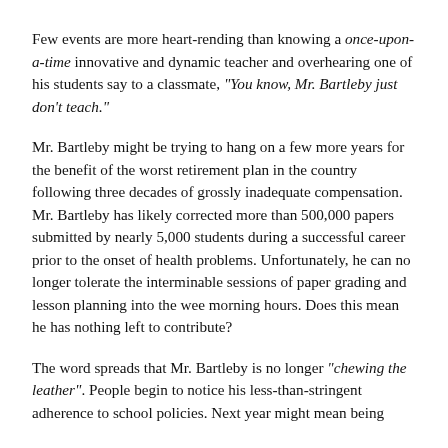Few events are more heart-rending than knowing a once-upon-a-time innovative and dynamic teacher and overhearing one of his students say to a classmate, "You know, Mr. Bartleby just don't teach."
Mr. Bartleby might be trying to hang on a few more years for the benefit of the worst retirement plan in the country following three decades of grossly inadequate compensation. Mr. Bartleby has likely corrected more than 500,000 papers submitted by nearly 5,000 students during a successful career prior to the onset of health problems. Unfortunately, he can no longer tolerate the interminable sessions of paper grading and lesson planning into the wee morning hours. Does this mean he has nothing left to contribute?
The word spreads that Mr. Bartleby is no longer "chewing the leather". People begin to notice his less-than-stringent adherence to school policies. Next year might mean being